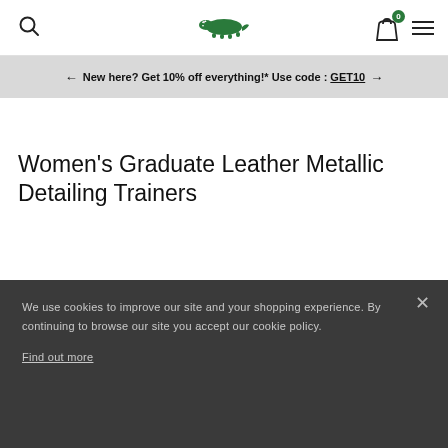Lacoste header with search, logo, bag (0 items), and menu
← New here? Get 10% off everything!* Use code : GET10 →
Women's Graduate Leather Metallic Detailing Trainers
We use cookies to improve our site and your shopping experience. By continuing to browse our site you accept our cookie policy. Find out more